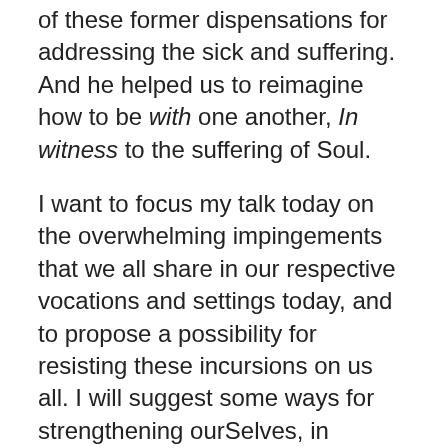of these former dispensations for addressing the sick and suffering. And he helped us to reimagine how to be with one another, In witness to the suffering of Soul.
I want to focus my talk today on the overwhelming impingements that we all share in our respective vocations and settings today, and to propose a possibility for resisting these incursions on us all. I will suggest some ways for strengthening ourSelves, in spiritual and tangible ways, that I believe can deepen.
In a brief overview of our current challenges: